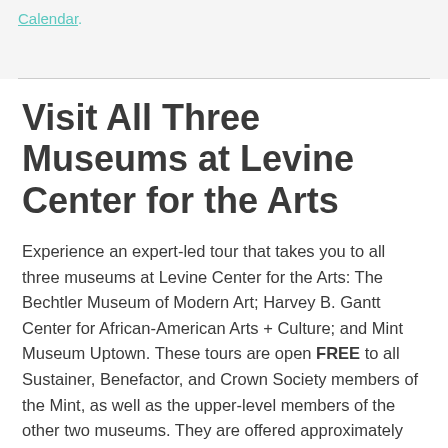Calendar.
Visit All Three Museums at Levine Center for the Arts
Experience an expert-led tour that takes you to all three museums at Levine Center for the Arts: The Bechtler Museum of Modern Art; Harvey B. Gantt Center for African-American Arts + Culture; and Mint Museum Uptown. These tours are open FREE to all Sustainer, Benefactor, and Crown Society members of the Mint, as well as the upper-level members of the other two museums. They are offered approximately quarte...